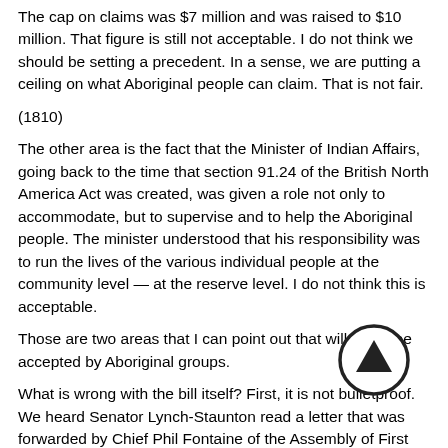The cap on claims was $7 million and was raised to $10 million. That figure is still not acceptable. I do not think we should be setting a precedent. In a sense, we are putting a ceiling on what Aboriginal people can claim. That is not fair.
(1810)
The other area is the fact that the Minister of Indian Affairs, going back to the time that section 91.24 of the British North America Act was created, was given a role not only to accommodate, but to supervise and to help the Aboriginal people. The minister understood that his responsibility was to run the lives of the various individual people at the community level — at the reserve level. I do not think this is acceptable.
Those are two areas that I can point out that will never be accepted by Aboriginal groups.
What is wrong with the bill itself? First, it is not bulletproof. We heard Senator Lynch-Staunton read a letter that was forwarded by Chief Phil Fontaine of the Assembly of First Nations. He mentioned that a number of areas still require some clear examination. Standing Senate Committee on Legal and Constitutional Affairs wanted to be given full opportunity to study the issues raised and consider how they can be addressed constructively. It wanted to determine if the Department of Justice had a technical response to
[Figure (other): Circular scroll-up navigation icon with upward arrow]